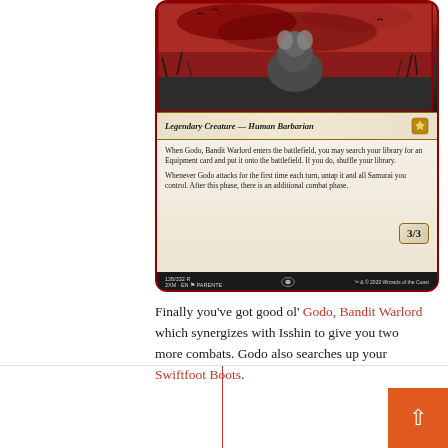[Figure (illustration): Magic: The Gathering card — Godo, Bandit Warlord. Legendary Creature — Human Barbarian. 3/3. Card text: 'When Godo, Bandit Warlord enters the battlefield, you may search your library for an Equipment card and put it onto the battlefield. If you do, shuffle your library. Whenever Godo attacks for the first time each turn, untap it and all Samurai you control. After this phase, there is an additional combat phase.' Set: 2XM, number 128/332 R, art by Parente. TM & © 2020 Wizards of the Coast.]
Finally you've got good ol' Godo, Bandit Warlord which synergizes with Isshin to give you two more combats. Godo also searches up your Swiftfoot Boots.